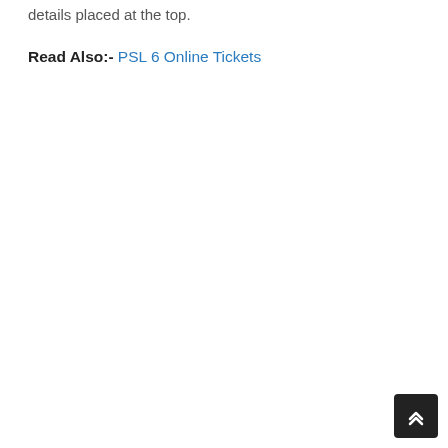details placed at the top.
Read Also:- PSL 6 Online Tickets